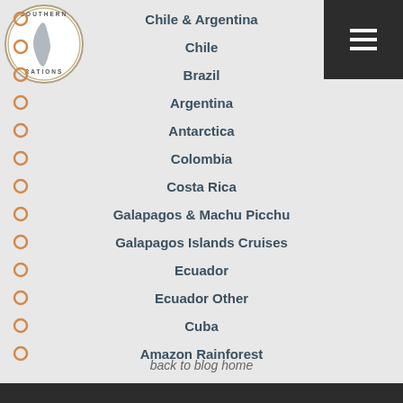[Figure (logo): Southern Explorations circular logo with South America map outline]
Chile & Argentina
Chile
Brazil
Argentina
Antarctica
Colombia
Costa Rica
Galapagos & Machu Picchu
Galapagos Islands Cruises
Ecuador
Ecuador Other
Cuba
Amazon Rainforest
back to blog home